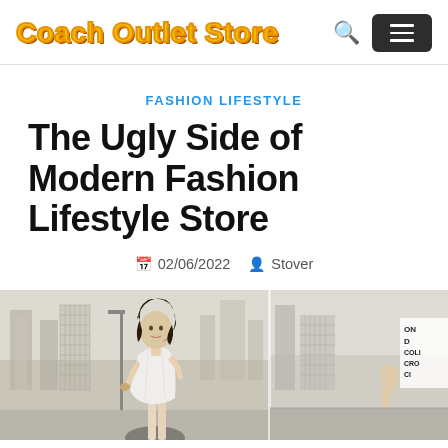Coach Outlet Store
FASHION LIFESTYLE
The Ugly Side of Modern Fashion Lifestyle Store
02/06/2022  Stover
[Figure (photo): A woman in a white sleeveless top standing outdoors in an urban setting, holding a drink, with city buildings in the background. A second partial outdoor city scene visible to the right.]